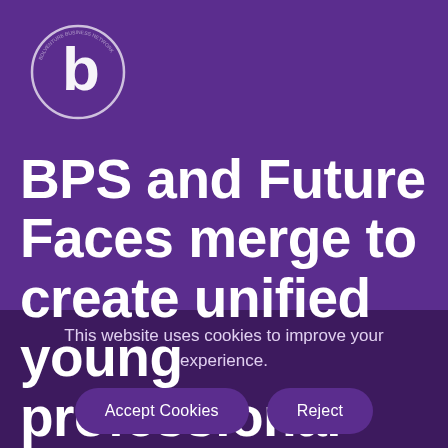[Figure (logo): Bolventure Business Network circular logo in white on purple background, featuring a stylized 'b' letter with circular ring]
BPS and Future Faces merge to create unified young professional network
This website uses cookies to improve your experience.
Accept Cookies   Reject